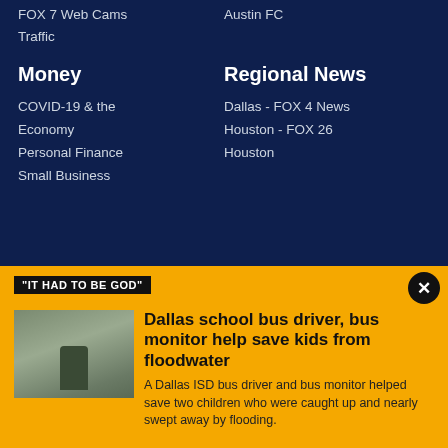FOX 7 Web Cams
Traffic
Austin FC
Money
COVID-19 & the Economy
Personal Finance
Small Business
Regional News
Dallas - FOX 4 News
Houston - FOX 26 Houston
"IT HAD TO BE GOD"
Dallas school bus driver, bus monitor help save kids from floodwater
A Dallas ISD bus driver and bus monitor helped save two children who were caught up and nearly swept away by flooding.